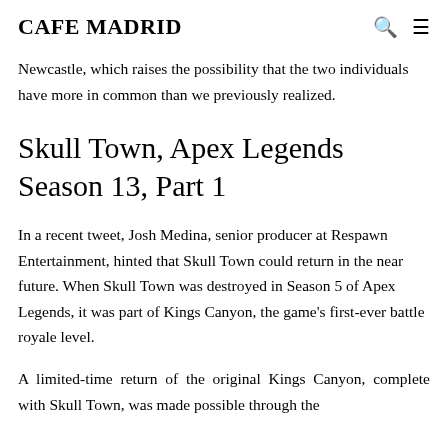CAFE MADRID
Newcastle, which raises the possibility that the two individuals have more in common than we previously realized.
Skull Town, Apex Legends Season 13, Part 1
In a recent tweet, Josh Medina, senior producer at Respawn Entertainment, hinted that Skull Town could return in the near future. When Skull Town was destroyed in Season 5 of Apex Legends, it was part of Kings Canyon, the game’s first-ever battle royale level.
A limited-time return of the original Kings Canyon, complete with Skull Town, was made possible through the